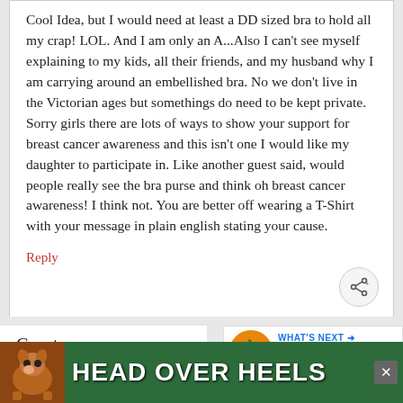Cool Idea, but I would need at least a DD sized bra to hold all my crap! LOL. And I am only an A...Also I can't see myself explaining to my kids, all their friends, and my husband why I am carrying around an embellished bra. No we don't live in the Victorian ages but somethings do need to be kept private. Sorry girls there are lots of ways to show your support for breast cancer awareness and this isn't one I would like my daughter to participate in. Like another guest said, would people really see the bra purse and think oh breast cancer awareness! I think not. You are better off wearing a T-Shirt with your message in plain english stating your cause.
Reply
Guest says
January 26, 2010 at 3:34 am
[Figure (screenshot): HEAD OVER HEELS advertisement banner with dog image on green background]
[Figure (infographic): WHAT'S NEXT arrow with Sunflower Pumpkin Do... thumbnail]